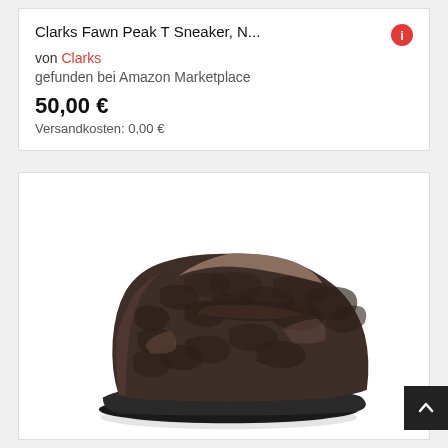Clarks Fawn Peak T Sneaker, N...
von Clarks
gefunden bei Amazon Marketplace
50,00 €
Versandkosten: 0,00 €
[Figure (photo): A dark brown crocodile-pattern patent leather loafer/sneaker shoe from Clarks, shown on a white background in the image card.]